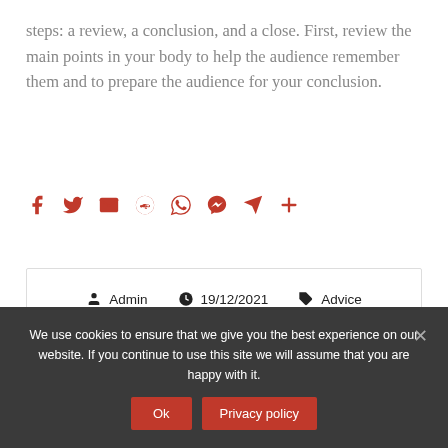steps: a review, a conclusion, and a close. First, review the main points in your body to help the audience remember them and to prepare the audience for your conclusion.
[Figure (other): Social sharing icons row: Facebook, Twitter, Email, Reddit, WhatsApp, Messenger, Telegram, More (plus)]
Admin  19/12/2021  Advice
We use cookies to ensure that we give you the best experience on our website. If you continue to use this site we will assume that you are happy with it.